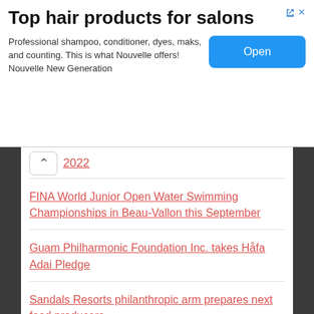[Figure (other): Advertisement banner for 'Top hair products for salons' by Nouvelle New Generation with an Open button]
Top hair products for salons
Professional shampoo, conditioner, dyes, maks, and counting. This is what Nouvelle offers! Nouvelle New Generation
2022
FINA World Junior Open Water Swimming Championships in Beau-Vallon this September
Guam Philharmonic Foundation Inc. takes Håfa Adai Pledge
Sandals Resorts philanthropic arm prepares next food producers
OTDYKH Leisure 2022 is around the corner
IMEX America returns October 10 – 13 with a powerful & purposeful business experience